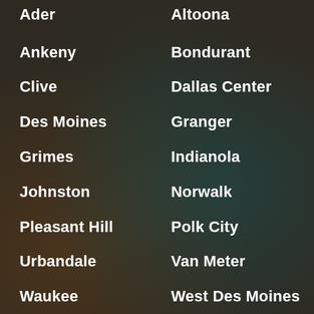Ader
Altoona
Ankeny
Bondurant
Clive
Dallas Center
Des Moines
Granger
Grimes
Indianola
Johnston
Norwalk
Pleasant Hill
Polk City
Urbandale
Van Meter
Waukee
West Des Moines